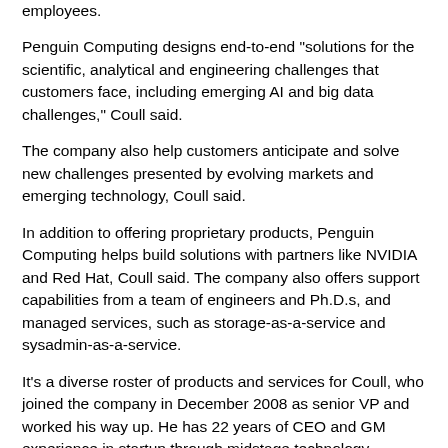employees.
Penguin Computing designs end-to-end "solutions for the scientific, analytical and engineering challenges that customers face, including emerging AI and big data challenges," Coull said.
The company also help customers anticipate and solve new challenges presented by evolving markets and emerging technology, Coull said.
In addition to offering proprietary products, Penguin Computing helps build solutions with partners like NVIDIA and Red Hat, Coull said. The company also offers support capabilities from a team of engineers and Ph.D.s, and managed services, such as storage-as-a-service and sysadmin-as-a-service.
It's a diverse roster of products and services for Coull, who joined the company in December 2008 as senior VP and worked his way up. He has 22 years of CEO and GM experience in startup through midstage technology companies.
At Penguin Computing, Coull has been responsible for engineering, product development, services, support and the growth of the